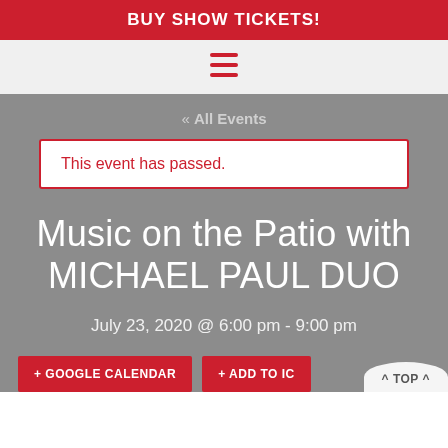BUY SHOW TICKETS!
[Figure (other): Hamburger menu icon with three red horizontal lines]
« All Events
This event has passed.
Music on the Patio with MICHAEL PAUL DUO
July 23, 2020 @ 6:00 pm - 9:00 pm
+ GOOGLE CALENDAR  + ADD TO IC  ^ TOP ^